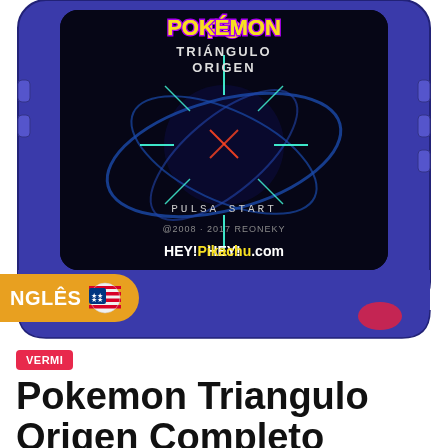[Figure (screenshot): Game Boy Advance handheld device showing Pokemon Triangulo Origen title screen. The screen displays 'POKEMON TRIÁNGULO ORIGEN' in colorful letters at top, a dark background with a star/Dialga-like Pokemon silhouette, 'PULSA START' text, '@2008-2017 REONEKY' copyright, and 'HEY!Pikachu.com' watermark. The device is blue/purple colored. An orange badge on the lower left reads 'NGLÊS' with a US flag emoji.]
NGLÊS 🇺🇸
VERMI
Pokemon Triangulo Origen Completo